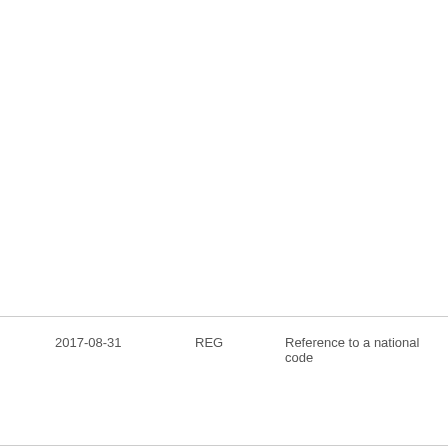| Date | Code | Description |
| --- | --- | --- |
|  |  |  |
| 2017-08-31 | REG | Reference to a national code |
| 2017-10-06 | PLBE | No opposition filed within time limit |